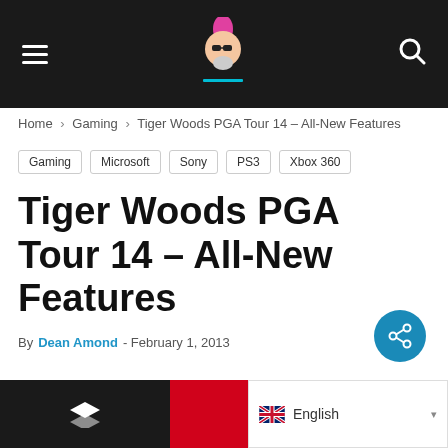Navigation header with hamburger menu, site logo, and search icon
Home › Gaming › Tiger Woods PGA Tour 14 – All-New Features
Gaming
Microsoft
Sony
PS3
Xbox 360
Tiger Woods PGA Tour 14 – All-New Features
By Dean Amond - February 1, 2013
Footer bar with social share icons and English language selector